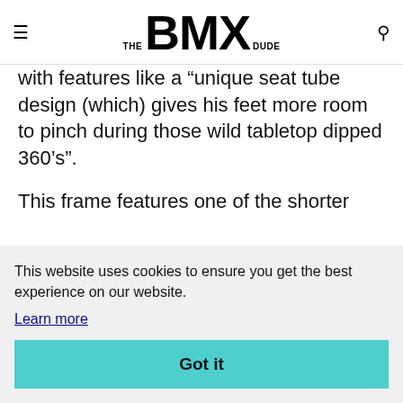THE BMX DUDE
with features like a “unique seat tube design (which) gives his feet more room to pinch during those wild tabletop dipped 360’s”.
This frame features one of the shorter
k
op
This website uses cookies to ensure you get the best experience on our website.
Learn more
Got it